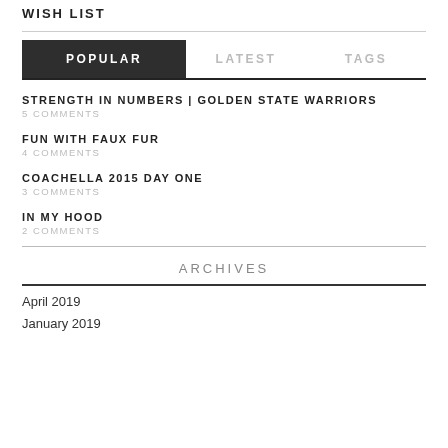WISH LIST
POPULAR | LATEST | TAGS
STRENGTH IN NUMBERS | GOLDEN STATE WARRIORS
5 COMMENTS
FUN WITH FAUX FUR
4 COMMENTS
COACHELLA 2015 DAY ONE
3 COMMENTS
IN MY HOOD
2 COMMENTS
ARCHIVES
April 2019
January 2019